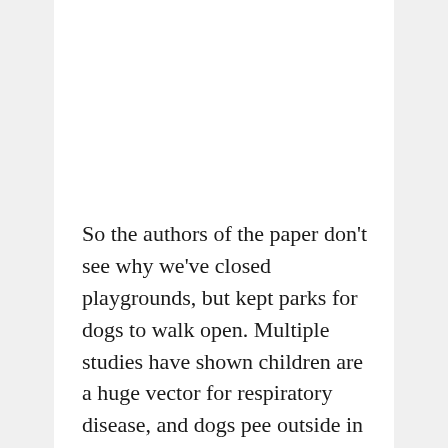So the authors of the paper don't see why we've closed playgrounds, but kept parks for dogs to walk open. Multiple studies have shown children are a huge vector for respiratory disease, and dogs pee outside in parks you absolute potato. We have only had confirmed cases in a small handful of canines and that has shown no transmission.